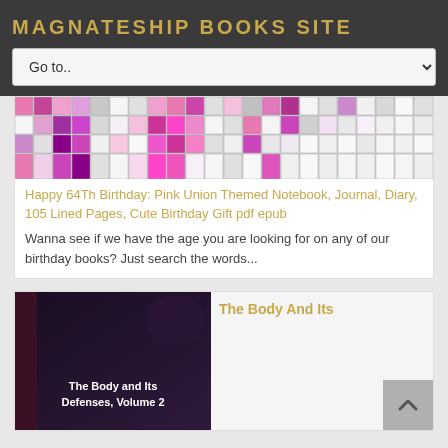MAGNATESHIP BOOKS SITE
Go to..
[Figure (photo): Colorful mosaic/grid pattern book cover with pink, purple, magenta, and white tiles for a birthday notebook]
Happy 64Th Birthday: Pink Union Themed Notebook, Journal, Diary, 105 Lined Pages, Cute Birthday Gift pdf epub
Wanna see if we have the age you are looking for on any of our birthday books? Just search the words...
[Figure (photo): Dark purple/maroon book cover with white text reading 'The Body and Its Defenses, Volume 2']
The Body And Its